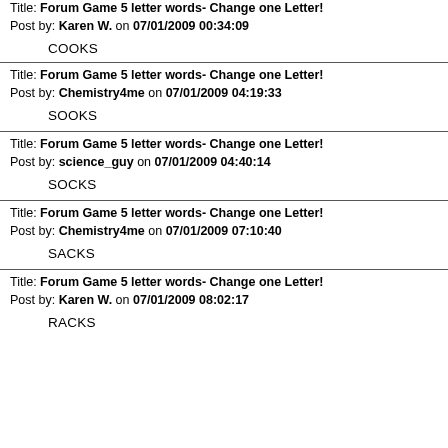Title: Forum Game 5 letter words- Change one Letter! Post by: Karen W. on 07/01/2009 00:34:09
COOKS
Title: Forum Game 5 letter words- Change one Letter! Post by: Chemistry4me on 07/01/2009 04:19:33
SOOKS
Title: Forum Game 5 letter words- Change one Letter! Post by: science_guy on 07/01/2009 04:40:14
SOCKS
Title: Forum Game 5 letter words- Change one Letter! Post by: Chemistry4me on 07/01/2009 07:10:40
SACKS
Title: Forum Game 5 letter words- Change one Letter! Post by: Karen W. on 07/01/2009 08:02:17
RACKS